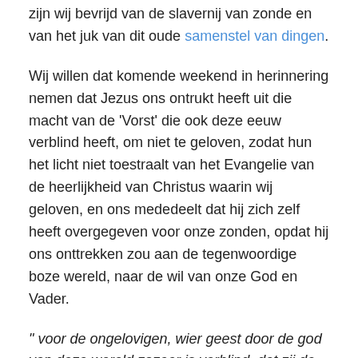zijn wij bevrijd van de slavernij van zonde en van het juk van dit oude samenstel van dingen.
Wij willen dat komende weekend in herinnering nemen dat Jezus ons ontrukt heeft uit die macht van de 'Vorst' die ook deze eeuw verblind heeft, om niet te geloven, zodat hun het licht niet toestraalt van het Evangelie van de heerlijkheid van Christus waarin wij geloven, en ons mededeelt dat hij zich zelf heeft overgegeven voor onze zonden, opdat hij ons onttrekken zou aan de tegenwoordige boze wereld, naar de wil van onze God en Vader.
" voor de ongelovigen, wier geest door de god van deze wereld zozeer is verblind, dat zij de glans niet ontwaren van het evangelie van de heerlijkheid van Christus, die het beeld is van God." (2Co 4:4 WV78)